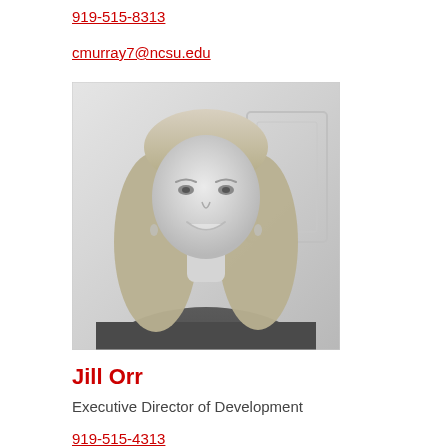919-515-8313
cmurray7@ncsu.edu
[Figure (photo): Black and white professional headshot of a woman with long blonde hair, smiling, wearing a dark top]
Jill Orr
Executive Director of Development
919-515-4313